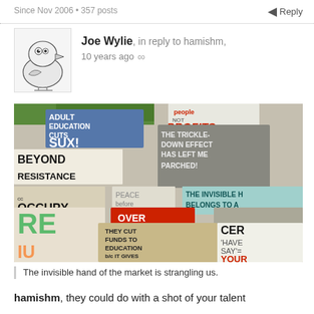Since Nov 2006 • 357 posts
Reply
Joe Wylie, in reply to hamishm, 10 years ago ∞
[Figure (photo): Protest signs laid on ground including 'ADULT EDUCATION CUTS SUX!', 'BEYOND RESISTANCE', 'OVER WORKED UNDER PAID', 'THEY CUT FUNDS TO EDUCATION b/c IT GIVES US THE POWER TO DO THIS!', 'PEOPLE NOT PROFITS', 'THE TRICKLE DOWN EFFECT HAS LEFT ME PARCHED!', 'THE INVISIBLE HAND BELONGS TO A', 'EQUAL', and others]
The invisible hand of the market is strangling us.
hamishm, they could do with a shot of your talent